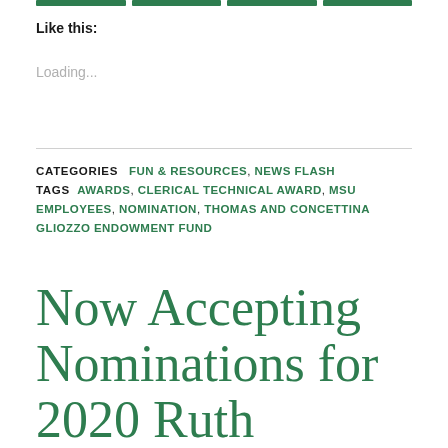[top navigation bar segments]
Like this:
Loading...
CATEGORIES  FUN & RESOURCES, NEWS FLASH
TAGS  AWARDS, CLERICAL TECHNICAL AWARD, MSU EMPLOYEES, NOMINATION, THOMAS AND CONCETTINA GLIOZZO ENDOWMENT FUND
Now Accepting Nominations for 2020 Ruth